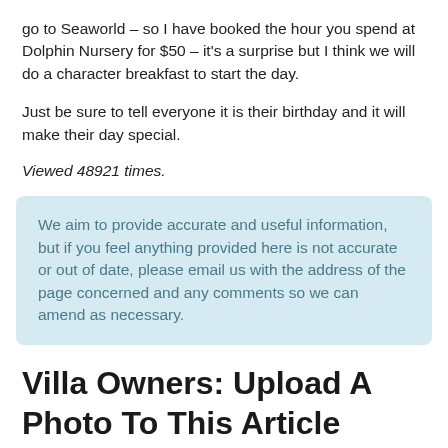go to Seaworld – so I have booked the hour you spend at Dolphin Nursery for $50 – it's a surprise but I think we will do a character breakfast to start the day.
Just be sure to tell everyone it is their birthday and it will make their day special.
Viewed 48921 times.
We aim to provide accurate and useful information, but if you feel anything provided here is not accurate or out of date, please email us with the address of the page concerned and any comments so we can amend as necessary.
Villa Owners: Upload A Photo To This Article